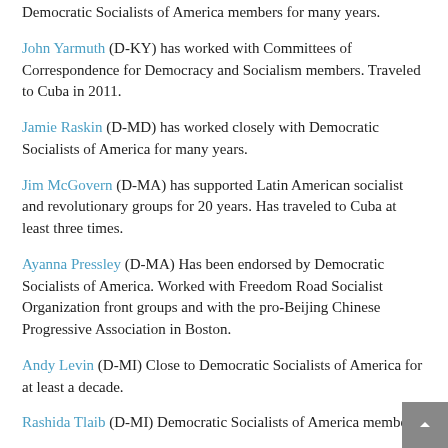Democratic Socialists of America members for many years.
John Yarmuth (D-KY) has worked with Committees of Correspondence for Democracy and Socialism members. Traveled to Cuba in 2011.
Jamie Raskin (D-MD) has worked closely with Democratic Socialists of America for many years.
Jim McGovern (D-MA) has supported Latin American socialist and revolutionary groups for 20 years. Has traveled to Cuba at least three times.
Ayanna Pressley (D-MA) Has been endorsed by Democratic Socialists of America. Worked with Freedom Road Socialist Organization front groups and with the pro-Beijing Chinese Progressive Association in Boston.
Andy Levin (D-MI) Close to Democratic Socialists of America for at least a decade.
Rashida Tlaib (D-MI) Democratic Socialists of America member.
Betty McCollum (D-MN) Close ties to communist Laos. Has